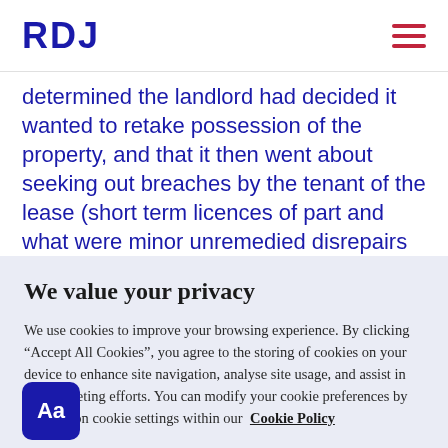RDJ
determined the landlord had decided it wanted to retake possession of the property, and that it then went about seeking out breaches by the tenant of the lease (short term licences of part and what were minor unremedied disrepairs from an existing schedule of
We value your privacy
We use cookies to improve your browsing experience. By clicking “Accept All Cookies”, you agree to the storing of cookies on your device to enhance site navigation, analyse site usage, and assist in our marketing efforts. You can modify your cookie preferences by clicking on cookie settings within our Cookie Policy